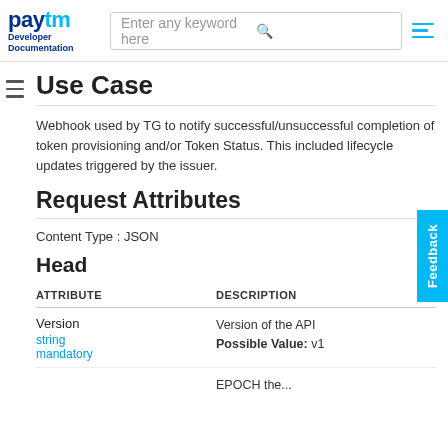Paytm Developer Documentation | Search: Enter any keyword here
Use Case
Webhook used by TG to notify successful/unsuccessful completion of token provisioning and/or Token Status. This included lifecycle updates triggered by the issuer.
Request Attributes
Content Type : JSON
Head
| ATTRIBUTE | DESCRIPTION |
| --- | --- |
| Version
string
mandatory | Version of the API
Possible Value: v1 |
| ... | EPOCH the... (partial) |